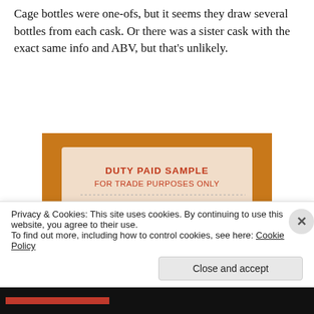Cage bottles were one-ofs, but it seems they draw several bottles from each cask. Or there was a sister cask with the exact same info and ABV, but that's unlikely.
[Figure (photo): Close-up photo of a whisky bottle label reading 'DUTY PAID SAMPLE FOR TRADE PURPOSES ONLY' with handwritten fields: Warehouse: 15, Rotation No: 498, Make: LONGROW RB HHD]
Privacy & Cookies: This site uses cookies. By continuing to use this website, you agree to their use.
To find out more, including how to control cookies, see here: Cookie Policy